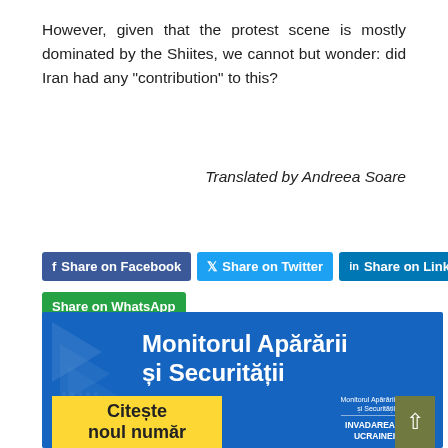However, given that the protest scene is mostly dominated by the Shiites, we cannot but wonder: did Iran had any “contribution” to this?
Translated by Andreea Soare
[Figure (infographic): Social media share buttons: Share on Facebook, Share on Twitter, Share on LinkedIn (with LinkedIn icon), a circular WhatsApp-style icon, and Share on WhatsApp button below]
[Figure (infographic): Banner for 'Monitorul Apărării şi Securității' publication with blue background, arrow logo, yellow box with 'Citeşte noul număr', and 'INVADAREA UCRAINEI' text with a scroll-to-top button]